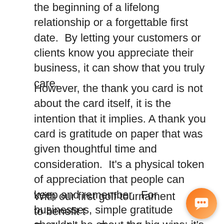the beginning of a lifelong relationship or a forgettable first date.  By letting your customers or clients know you appreciate their business, it can show that you truly care.
However, the thank you card is not about the card itself, it is the intention that it implies. A thank you card is gratitude on paper that was given thoughtful time and consideration.  It's a physical token of appreciation that people can keep and remember.  For businesses, simple gratitude shouldn't be about the big wins; it's more about the everyday ones and a simple note of thanks can make all the difference.
With our first golf tournament to benefit the Emilio Nares Foundation (ENF) coming up on March 15, 2013, we would like to thank all the